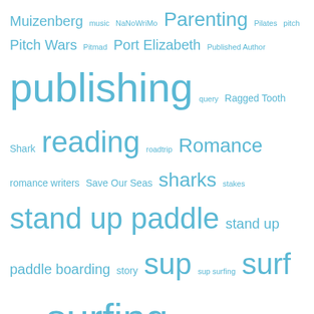[Figure (other): Tag cloud with terms related to surfing, writing, and publishing in varying blue font sizes. Terms include: Muizenberg, music, NaNoWriMo, Parenting, Pilates, pitch, Pitch Wars, Pitmad, Port Elizabeth, Published Author, publishing, query, Ragged Tooth Shark, reading, roadtrip, Romance, romance writers, Save Our Seas, sharks, stakes, stand up paddle, stand up paddle boarding, story, sup, sup surfing, surf, surfers, surfing, The Notebook, travel, twitter, Unpublished Author, wahine, wave, wind, women's surfing, writing, writing advice, writing process, writing tips, WSL]
Follow Blog via Email
Enter your email address to follow this blog and receive notifications of new posts by email.